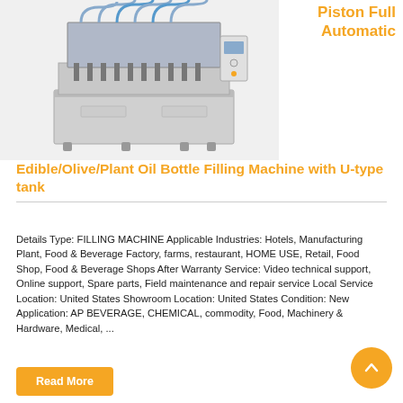[Figure (photo): Industrial piston filling machine with multiple nozzles, stainless steel body, on white background]
Piston Full Automatic
Edible/Olive/Plant Oil Bottle Filling Machine with U-type tank
Details Type: FILLING MACHINE Applicable Industries: Hotels, Manufacturing Plant, Food & Beverage Factory, farms, restaurant, HOME USE, Retail, Food Shop, Food & Beverage Shops After Warranty Service: Video technical support, Online support, Spare parts, Field maintenance and repair service Local Service Location: United States Showroom Location: United States Condition: New Application: AP BEVERAGE, CHEMICAL, commodity, Food, Machinery & Hardware, Medical, ...
Read More